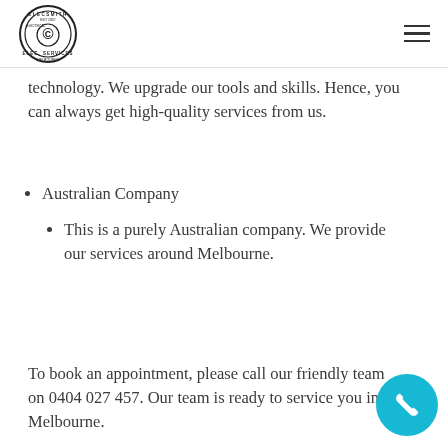Elecsmith Electrical Services logo and navigation
technology. We upgrade our tools and skills. Hence, you can always get high-quality services from us.
Australian Company
This is a purely Australian company. We provide our services around Melbourne.
To book an appointment, please call our friendly team on 0404 027 457. Our team is ready to service you in Melbourne.